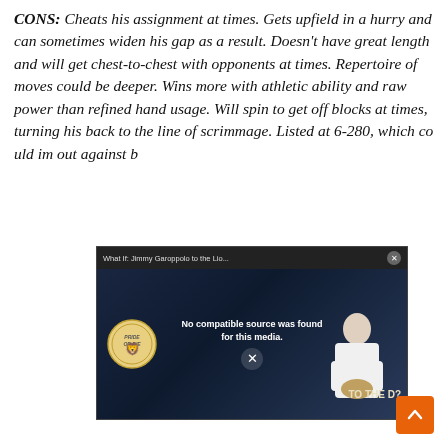CONS: Cheats his assignment at times. Gets upfield in a hurry and can sometimes widen his gap as a result. Doesn't have great length and will get chest-to-chest with opponents at times. Repertoire of moves could be deeper. Wins more with athletic ability and raw power than refined hand usage. Will spin to get off blocks at times, turning his back to the line of scrimmage. Listed at 6-280, which could... him out against b...
[Figure (screenshot): Video overlay popup titled 'What If: Jimmy Garoppolo to the Lio...' showing 'No compatible source was found for this media.' message with an X button, over a dark blue background with a lion logo and a person in a white jersey holding a football. Text overlay reads 'TO THE D?']